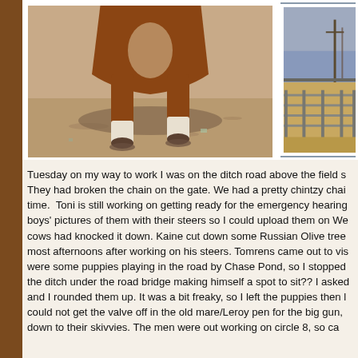[Figure (photo): Close-up photo of a horse's lower body and legs standing on sandy/dirt ground, taken from front/below angle showing hooves and white markings on legs.]
[Figure (photo): Partial photo of a ranch or farm scene with metal pipe corrals/fencing and dry brown field, overcast sky with utility poles visible.]
Tuesday on my way to work I was on the ditch road above the field s They had broken the chain on the gate. We had a pretty chintzy chai time.  Toni is still working on getting ready for the emergency hearing boys' pictures of them with their steers so I could upload them on We cows had knocked it down. Kaine cut down some Russian Olive tree most afternoons after working on his steers. Tomrens came out to vis were some puppies playing in the road by Chase Pond, so I stopped the ditch under the road bridge making himself a spot to sit?? I asked and I rounded them up. It was a bit freaky, so I left the puppies then could not get the valve off in the old mare/Leroy pen for the big gun, down to their skivvies. The men were out working on circle 8, so ca